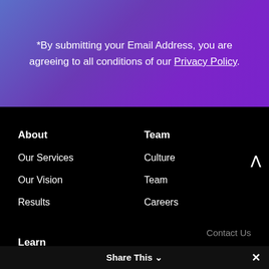*By submitting your Email Address, you are agreeing to all conditions of our Privacy Policy.
About
Our Services
Our Vision
Results
Team
Culture
Team
Careers
Learn
Blog
Contact Us
Share This